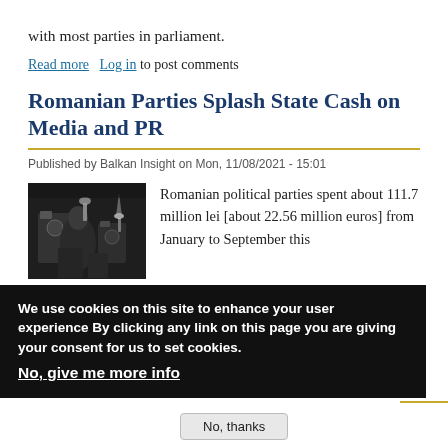with most parties in parliament.
Read more   Log in to post comments
Romanian Parties Splash State Cash on Media and PR
Published by Balkan Insight on Mon, 11/08/2021 - 15:01
[Figure (photo): Dark press photo showing people with cameras/lights in a dimly lit setting]
Romanian political parties spent about 111.7 million lei [about 22.56 million euros] from January to September this year on "mass media and propaganda", according to official data provided by the Romanian Permanent Electoral Authority, AEP.
Read more   Log in
Privacy settings
We use cookies on this site to enhance your user experience By clicking any link on this page you are giving your consent for us to set cookies. No, give me more info
No, thanks